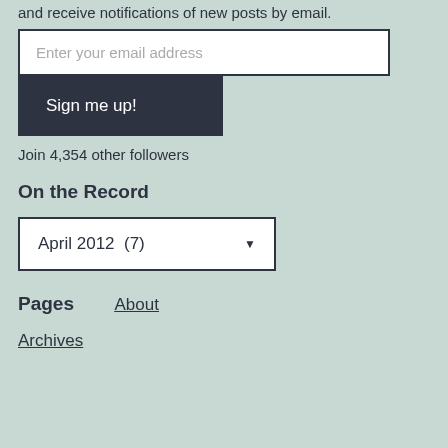and receive notifications of new posts by email.
Enter your email address
Sign me up!
Join 4,354 other followers
On the Record
April 2012  (7)
Pages
About
Archives